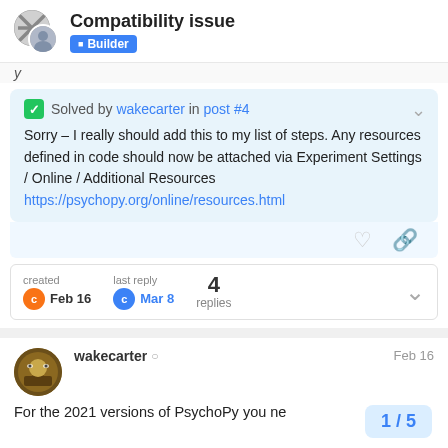Compatibility issue — Builder
✓ Solved by wakecarter in post #4

Sorry – I really should add this to my list of steps. Any resources defined in code should now be attached via Experiment Settings / Online / Additional Resources
https://psychopy.org/online/resources.html
created Feb 16   last reply Mar 8   4 replies
wakecarter ⊙   Feb 16

For the 2021 versions of PsychoPy you ne...
1 / 5